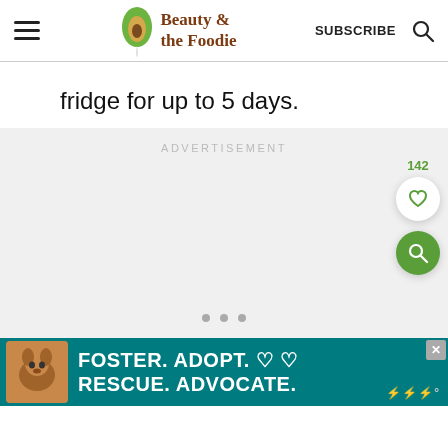Beauty & the Foodie — SUBSCRIBE
fridge for up to 5 days.
[Figure (other): Advertisement placeholder — gray box with 'ADVERTISEMENT' label and three dots indicating a carousel]
[Figure (other): Bottom banner advertisement: dog photo, text: FOSTER. ADOPT. ♡ ♡ RESCUE. ADVOCATE. Teal background. Close button top right. Wordmark bottom right.]